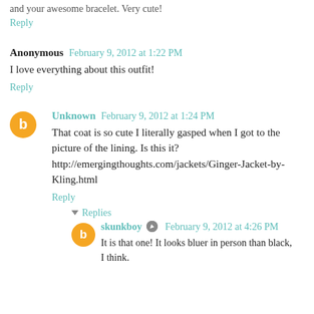and your awesome bracelet. Very cute!
Reply
Anonymous February 9, 2012 at 1:22 PM
I love everything about this outfit!
Reply
Unknown February 9, 2012 at 1:24 PM
That coat is so cute I literally gasped when I got to the picture of the lining. Is this it? http://emergingthoughts.com/jackets/Ginger-Jacket-by-Kling.html
Reply
Replies
skunkboy February 9, 2012 at 4:26 PM
It is that one! It looks bluer in person than black, I think.